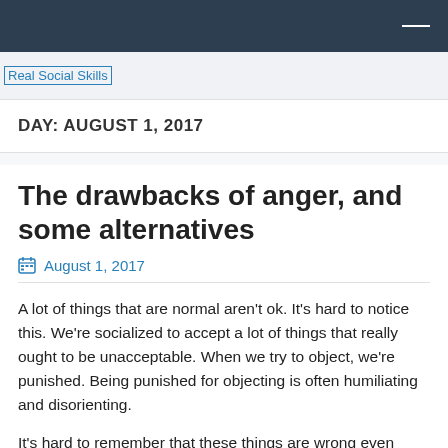[Figure (logo): Real Social Skills logo/site name as linked image with alt text 'Real Social Skills']
DAY: AUGUST 1, 2017
The drawbacks of anger, and some alternatives
August 1, 2017
A lot of things that are normal aren't ok. It's hard to notice this. We're socialized to accept a lot of things that really ought to be unacceptable. When we try to object, we're punished. Being punished for objecting is often humiliating and disorienting.
It's hard to remember that these things are wrong even when